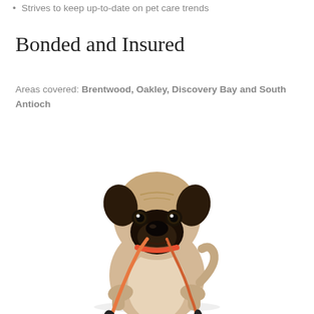Strives to keep up-to-date on pet care trends
Bonded and Insured
Areas covered: Brentwood, Oakley, Discovery Bay and South Antioch
[Figure (photo): A pug dog sitting and holding a leash in its mouth against a white background]